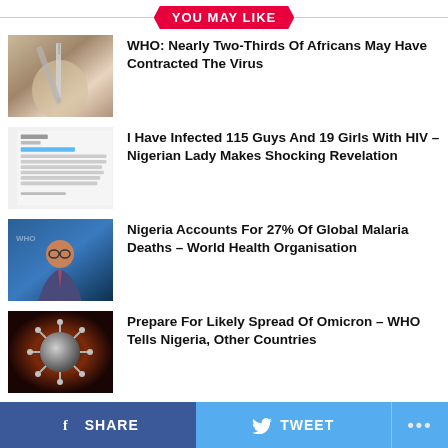YOU MAY LIKE
[Figure (photo): Gloved hands holding a syringe with vaccine vial]
WHO: Nearly Two-Thirds Of Africans May Have Contracted The Virus
[Figure (screenshot): Screenshot of a Twitter/social media post about HIV infection]
I Have Infected 115 Guys And 19 Girls With HIV – Nigerian Lady Makes Shocking Revelation
[Figure (photo): WHO Director-General speaking, man with glasses in suit]
Nigeria Accounts For 27% Of Global Malaria Deaths – World Health Organisation
[Figure (photo): Close-up of coronavirus particle on dark red background]
Prepare For Likely Spread Of Omicron – WHO Tells Nigeria, Other Countries
SHARE   TWEET   ...